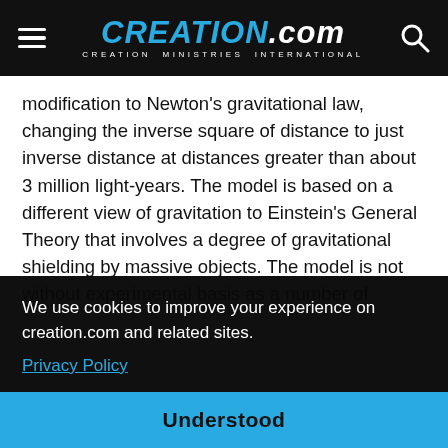CREATION.com — CREATION MINISTRIES INTERNATIONAL
modification to Newton's gravitational law, changing the inverse square of distance to just inverse distance at distances greater than about 3 million light-years. The model is based on a different view of gravitation to Einstein's General Theory that involves a degree of gravitational shielding by massive objects. The model is not without experimental basis as a number of
peculiar
ng-
here
time
of the
model with flat space (because of critical density);
We use cookies to improve your experience on creation.com and related sites. Privacy Policy
Understood